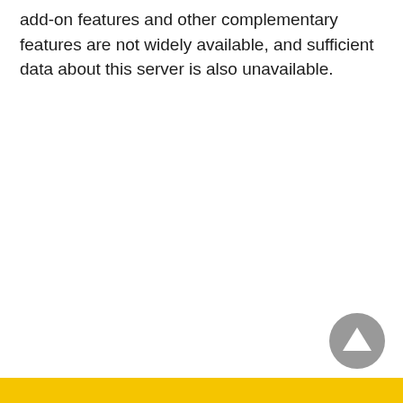add-on features and other complementary features are not widely available, and sufficient data about this server is also unavailable.
[Figure (other): A circular grey navigation button with an upward-pointing triangle (play/up arrow) icon in the center, positioned near the bottom-right of the page above a yellow bar.]